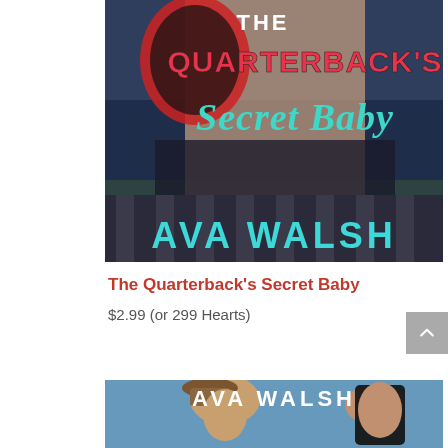[Figure (illustration): Book cover for 'The Quarterback's Secret Baby' by Ava Walsh. Features a shirtless male torso holding a football helmet against a stadium background. Title text in pink/red block letters and teal script. Author name in large teal block letters at bottom.]
The Quarterback's Secret Baby
$2.99 (or 299 Hearts)
[Figure (illustration): Partial book cover by Ava Walsh. Shows a man in a cowboy hat and a dark-haired woman against a blue background. Author name 'AVA WALSH' in white block letters at top.]